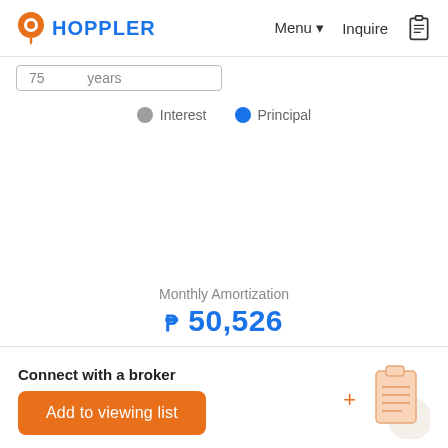HOPPLER | Menu | Inquire
75 years
Interest  Principal
Monthly Amortization
₱ 50,526
Connect with a broker
Add to viewing list